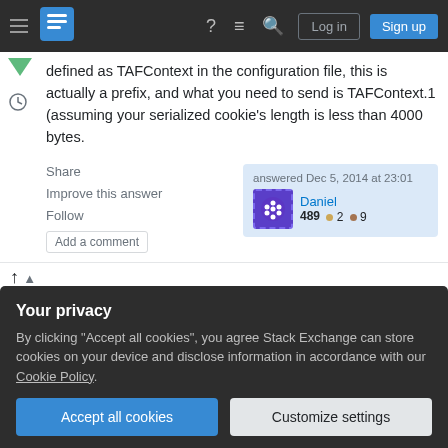Stack Exchange navigation bar with Log in and Sign up buttons
defined as TAFContext in the configuration file, this is actually a prefix, and what you need to send is TAFContext.1 (assuming your serialized cookie's length is less than 4000 bytes.
Share
Improve this answer
Follow
Add a comment
answered Dec 5, 2014 at 23:01
Daniel
489 ●2 ●9
Your privacy
By clicking "Accept all cookies", you agree Stack Exchange can store cookies on your device and disclose information in accordance with our Cookie Policy.
Accept all cookies
Customize settings